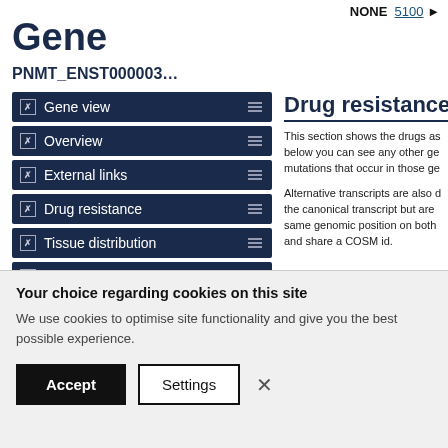NONE   5100
Gene
PNMT_ENST000003…
Gene view
Overview
External links
Drug resistance
Tissue distribution
Genome browser
Mutation distribution
Drug resistance
This section shows the drugs as below you can see any other ge mutations that occur in those ge
Alternative transcripts are also d the canonical transcript but are same genomic position on both and share a COSM id.
Your choice regarding cookies on this site
We use cookies to optimise site functionality and give you the best possible experience.